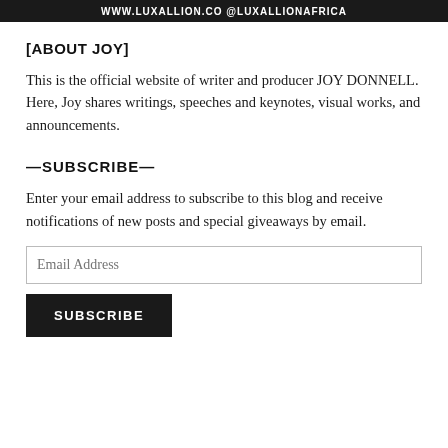WWW.LUXALLION.CO @LUXALLIONAFRICA
[ABOUT JOY]
This is the official website of writer and producer JOY DONNELL. Here, Joy shares writings, speeches and keynotes, visual works, and announcements.
—SUBSCRIBE—
Enter your email address to subscribe to this blog and receive notifications of new posts and special giveaways by email.